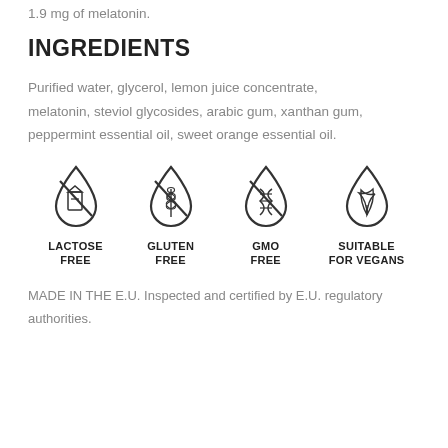1.9 mg of melatonin.
INGREDIENTS
Purified water, glycerol, lemon juice concentrate, melatonin, steviol glycosides, arabic gum, xanthan gum, peppermint essential oil, sweet orange essential oil.
[Figure (infographic): Four drop/circle shaped icons indicating: Lactose Free, Gluten Free, GMO Free, Suitable for Vegans]
MADE IN THE E.U. Inspected and certified by E.U. regulatory authorities.